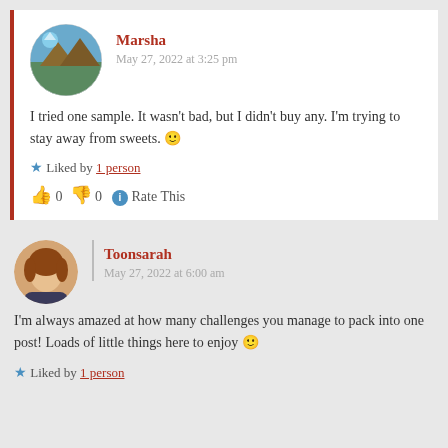Marsha
May 27, 2022 at 3:25 pm
I tried one sample. It wasn't bad, but I didn't buy any. I'm trying to stay away from sweets. 🙂
★ Liked by 1 person
👍 0 👎 0 ℹ Rate This
Toonsarah
May 27, 2022 at 6:00 am
I'm always amazed at how many challenges you manage to pack into one post! Loads of little things here to enjoy 🙂
★ Liked by 1 person